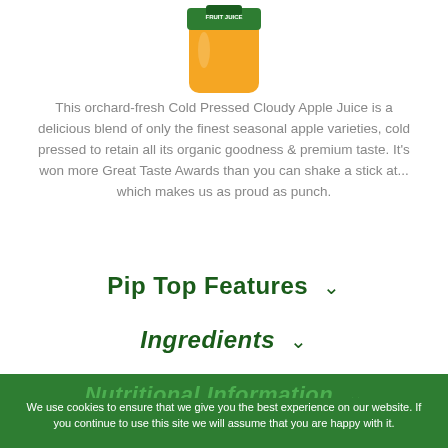[Figure (photo): Partial view of a fruit juice bottle with green label and orange/yellow body, cropped at the top of the page]
This orchard-fresh Cold Pressed Cloudy Apple Juice is a delicious blend of only the finest seasonal apple varieties, cold pressed to retain all its organic goodness & premium taste. It's won more Great Taste Awards than you can shake a stick at... which makes us as proud as punch.
Pip Top Features
Ingredients
Nutritional Information
We use cookies to ensure that we give you the best experience on our website. If you continue to use this site we will assume that you are happy with it.